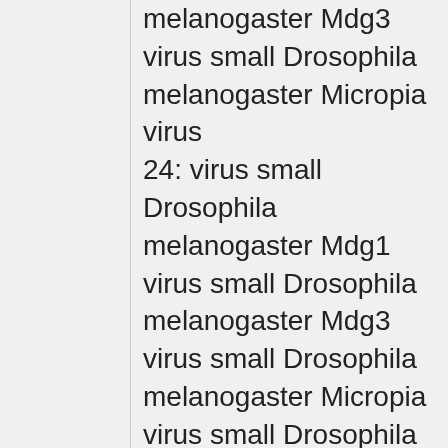|  | melanogaster Mdg3 virus small Drosophila melanogaster Micropia virus |
|  | 24: virus small Drosophila melanogaster Mdg1 virus small Drosophila melanogaster Mdg3 virus small Drosophila melanogaster Micropia virus small Drosophila virilis Ulysses virus |
|  | 25: virus small Drosophila melanogaster Mdg3 virus small Drosophila melanogaster Micropia virus small Drosophila virilis Ulysses virus small Fusarium oxysporum Skippy virus |
|  | 26: virus small Drosophila melanogaster Micropia virus small Drosophila virilis Ulysses virus small Fusarium oxysporum Skippy |